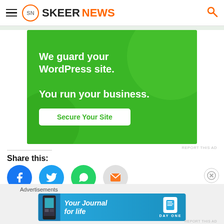SKEERNEWS
[Figure (screenshot): Green WordPress security advertisement banner: 'We guard your WordPress site. You run your business.' with 'Secure Your Site' button]
REPORT THIS AD
Share this:
[Figure (infographic): Social share icons: Facebook (blue circle), Twitter (light blue circle), WhatsApp (green circle), Email (gray circle)]
Advertisements
[Figure (screenshot): Day One app advertisement banner: 'Your Journal for life' with phone image and DayOne logo]